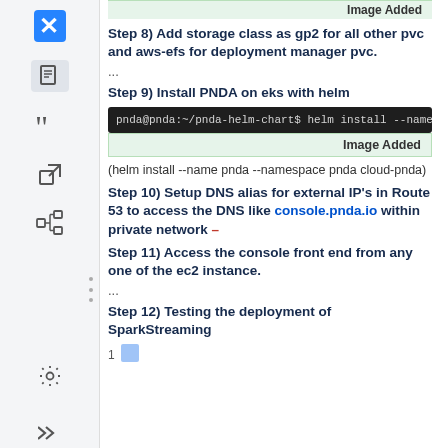[Figure (screenshot): Sidebar with Confluence/Jira-style navigation icons including logo, page, quote, external link, hierarchy, settings, and expand icons on a light gray background]
Image Added (top strip)
Step 8) Add storage class as gp2 for all other pvc and aws-efs for deployment manager pvc.
...
Step 9) Install PNDA on eks with helm
[Figure (screenshot): Terminal command: pnda@pnda:~/pnda-helm-chart$ helm install --name pnd...]
Image Added
(helm install --name pnda --namespace pnda cloud-pnda)
Step 10) Setup DNS alias for external IP's in Route 53 to access the DNS like console.pnda.io within private network –
Step 11) Access the console front end from any one of the ec2 instance.
...
Step 12) Testing the deployment of SparkStreaming
1